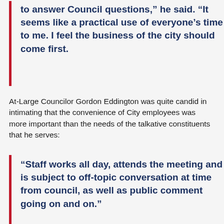to answer Council questions,” he said. “It seems like a practical use of everyone’s time to me. I feel the business of the city should come first.
At-Large Councilor Gordon Eddington was quite candid in intimating that the convenience of City employees was more important than the needs of the talkative constituents that he serves:
“Staff works all day, attends the meeting and is subject to off-topic conversation at time from council, as well as public comment going on and on.”